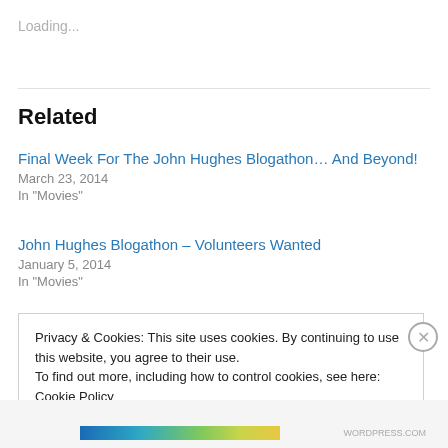Loading...
Related
Final Week For The John Hughes Blogathon… And Beyond!
March 23, 2014
In "Movies"
John Hughes Blogathon – Volunteers Wanted
January 5, 2014
In "Movies"
Privacy & Cookies: This site uses cookies. By continuing to use this website, you agree to their use.
To find out more, including how to control cookies, see here: Cookie Policy
Close and accept